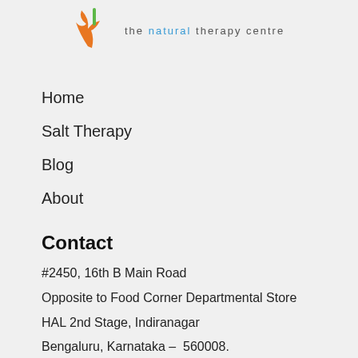[Figure (logo): The Natural Therapy Centre logo with orange bird/figure and green accent, with text 'the natural therapy centre' where 'natural' is in blue]
Home
Salt Therapy
Blog
About
Contact
#2450, 16th B Main Road
Opposite to Food Corner Departmental Store
HAL 2nd Stage, Indiranagar
Bengaluru, Karnataka –  560008.
Phone: +91 9590008899